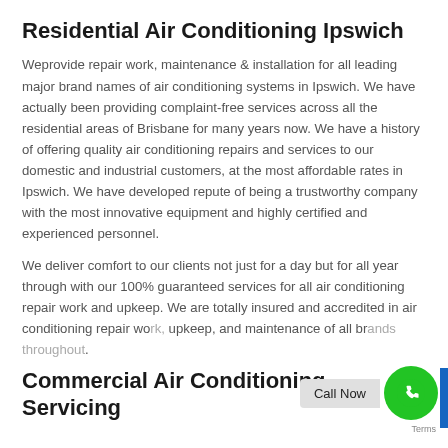Residential Air Conditioning Ipswich
Weprovide repair work, maintenance & installation for all leading major brand names of air conditioning systems in Ipswich. We have actually been providing complaint-free services across all the residential areas of Brisbane for many years now. We have a history of offering quality air conditioning repairs and services to our domestic and industrial customers, at the most affordable rates in Ipswich. We have developed repute of being a trustworthy company with the most innovative equipment and highly certified and experienced personnel.
We deliver comfort to our clients not just for a day but for all year through with our 100% guaranteed services for all air conditioning repair work and upkeep. We are totally insured and accredited in air conditioning repair work, upkeep, and maintenance of all brands throughout.
Commercial Air Conditioning Servicing